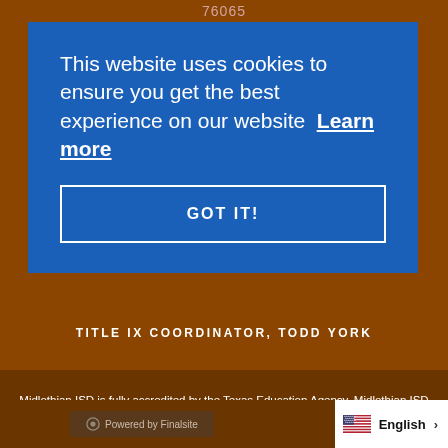76065
This website uses cookies to ensure you get the best experience on our website  Learn more
GOT IT!
TITLE IX COORDINATOR, TODD YORK
Midlothian ISD is fully accredited by the Texas Education Agency. Midlothian ISD is not responsible for the content of sites hosted on outside webservers.
Powered by Finalsite   English >